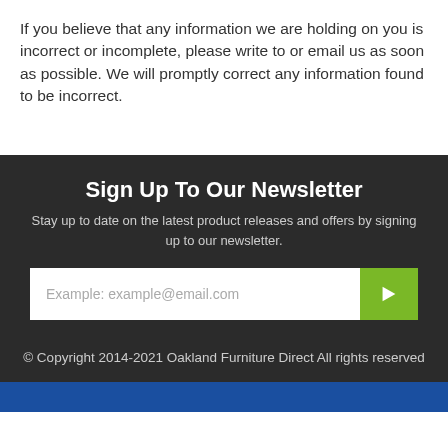If you believe that any information we are holding on you is incorrect or incomplete, please write to or email us as soon as possible. We will promptly correct any information found to be incorrect.
Sign Up To Our Newsletter
Stay up to date on the latest product releases and offers by signing up to our newsletter.
Example: example@email.com
© Copyright 2014-2021 Oakland Furniture Direct All rights reserved